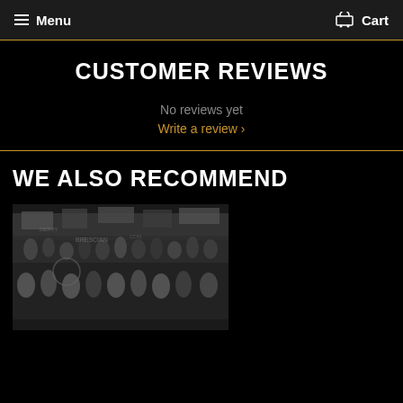Menu   Cart
CUSTOMER REVIEWS
No reviews yet
Write a review ›
WE ALSO RECOMMEND
[Figure (photo): Black and white photograph of a large crowd of sports fans with banners and flags, appears to be at a football/soccer match]